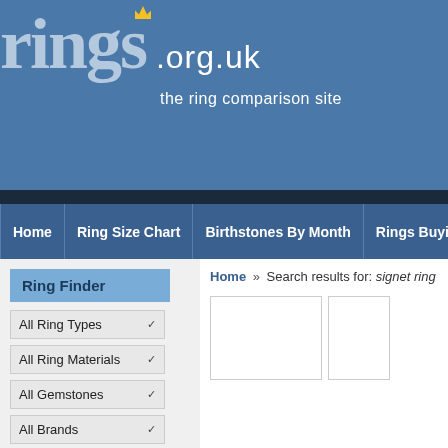[Figure (screenshot): Website header for rings.org.uk showing logo with crown icon, tagline 'the ring comparison site' on blue background]
rings.org.uk — the ring comparison site
Home | Ring Size Chart | Birthstones By Month | Rings Buying Gu...
Ring Finder
Home » Search results for: signet ring
All Ring Types ∨
All Ring Materials ∨
All Gemstones ∨
All Brands ∨
All Prices ∨